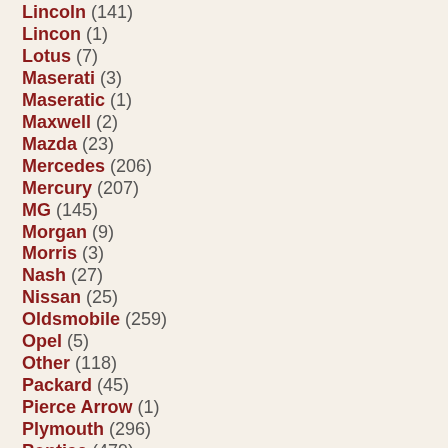Lincoln (141)
Lincon (1)
Lotus (7)
Maserati (3)
Maseratic (1)
Maxwell (2)
Mazda (23)
Mercedes (206)
Mercury (207)
MG (145)
Morgan (9)
Morris (3)
Nash (27)
Nissan (25)
Oldsmobile (259)
Opel (5)
Other (118)
Packard (45)
Pierce Arrow (1)
Plymouth (296)
Pontiac (479)
Porsche (106)
Rambler (10)
Renault (5)